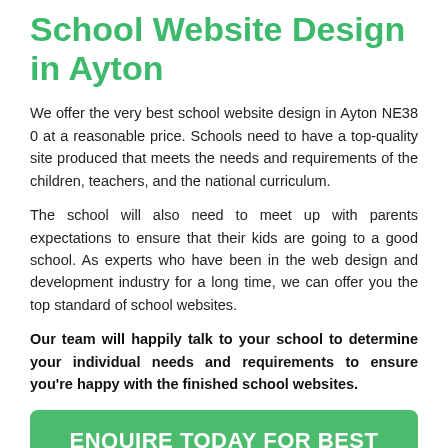School Website Design in Ayton
We offer the very best school website design in Ayton NE38 0 at a reasonable price. Schools need to have a top-quality site produced that meets the needs and requirements of the children, teachers, and the national curriculum.
The school will also need to meet up with parents expectations to ensure that their kids are going to a good school. As experts who have been in the web design and development industry for a long time, we can offer you the top standard of school websites.
Our team will happily talk to your school to determine your individual needs and requirements to ensure you're happy with the finished school websites.
[Figure (other): Green call-to-action button with white text reading ENQUIRE TODAY FOR BEST RATES]
Our main aim is to ensure you get what you need. We can alter